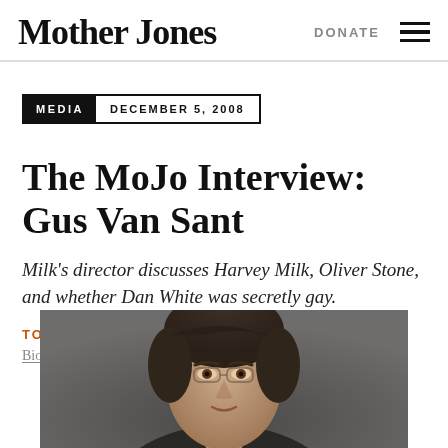Mother Jones | DONATE
MEDIA  DECEMBER 5, 2008
The MoJo Interview: Gus Van Sant
Milk's director discusses Harvey Milk, Oliver Stone, and whether Dan White was secretly gay.
TONY DUSHANE
Bio
[Figure (photo): Headshot photo of Gus Van Sant, man with dark hair, shown from shoulders up against a dark grey background]